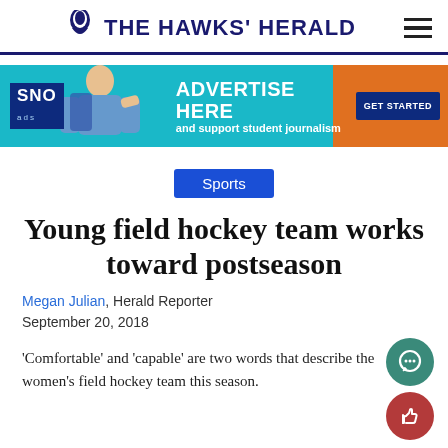THE HAWKS' HERALD
[Figure (infographic): SNO ads advertisement banner: 'ADVERTISE HERE and support student journalism' with GET STARTED button]
Sports
Young field hockey team works toward postseason
Megan Julian, Herald Reporter
September 20, 2018
'Comfortable' and 'capable' are two words that describe the women's field hockey team this season.